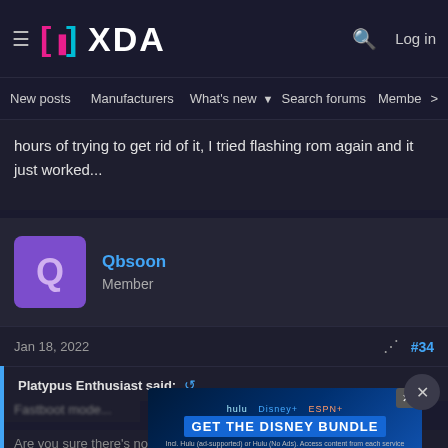XDA Forums — Navigation header with logo, search, login, and nav links: New posts, Manufacturers, What's new, Search forums, Members
hours of trying to get rid of it, I tried flashing rom again and it just worked...
Qbsoon
Member
Jan 18, 2022  #34
Platypus Enthusiast said:
[Figure (screenshot): Advertisement banner for Disney Bundle featuring Hulu, Disney+, ESPN+ logos with text GET THE DISNEY BUNDLE]
Are you sure there's nothing in developer options with 'OEM Unlock'?